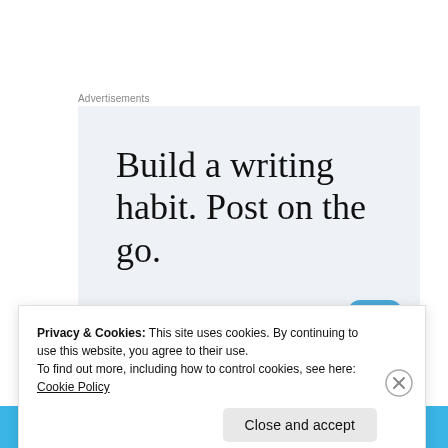Advertisements
[Figure (illustration): Advertisement banner with light blue-grey background. Large serif text reads: 'Build a writing habit. Post on the go.' A WordPress app icon (blue rounded square with globe/W logo) is visible in the bottom right corner. A 'GET THE APP' link is partially visible at the bottom left.]
Privacy & Cookies: This site uses cookies. By continuing to use this website, you agree to their use.
To find out more, including how to control cookies, see here: Cookie Policy
Close and accept